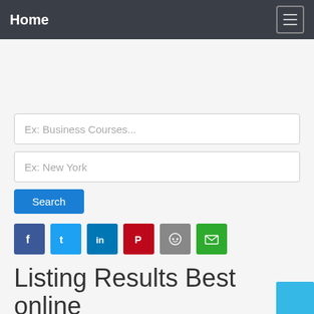Home
Ex: Business Courses...
Ex: New York
Search
[Figure (infographic): Row of social share icons: Facebook, Twitter, LinkedIn, Pinterest, Reddit, Email]
Listing Results Best online